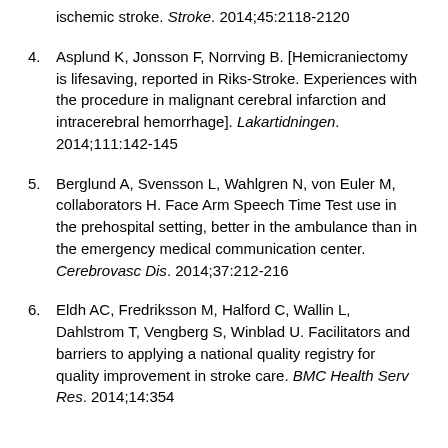ischemic stroke. Stroke. 2014;45:2118-2120
4. Asplund K, Jonsson F, Norrving B. [Hemicraniectomy is lifesaving, reported in Riks-Stroke. Experiences with the procedure in malignant cerebral infarction and intracerebral hemorrhage]. Lakartidningen. 2014;111:142-145
5. Berglund A, Svensson L, Wahlgren N, von Euler M, collaborators H. Face Arm Speech Time Test use in the prehospital setting, better in the ambulance than in the emergency medical communication center. Cerebrovasc Dis. 2014;37:212-216
6. Eldh AC, Fredriksson M, Halford C, Wallin L, Dahlstrom T, Vengberg S, Winblad U. Facilitators and barriers to applying a national quality registry for quality improvement in stroke care. BMC Health Serv Res. 2014;14:354